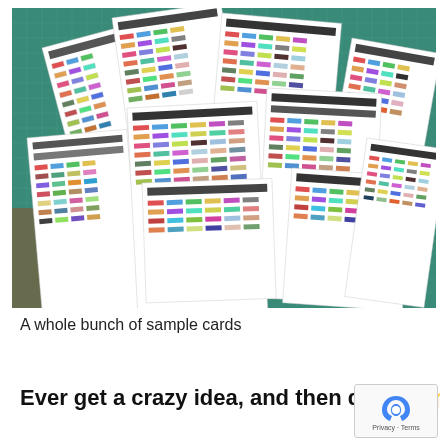[Figure (photo): A photograph showing multiple printed color sample cards (thread/marker/ink swatch reference sheets) spread out on a green cutting mat on a wooden surface. The sheets show small colored swatches arranged in grids with text labels.]
A whole bunch of sample cards
Ever get a crazy idea, and then do it? 🤷